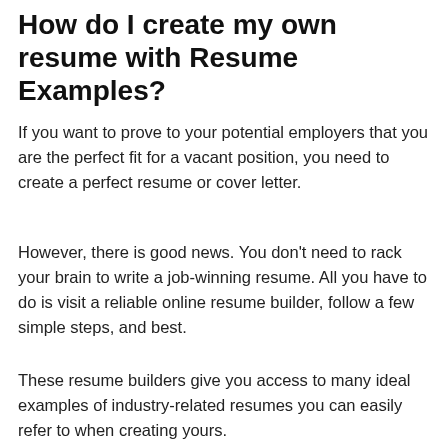How do I create my own resume with Resume Examples?
If you want to prove to your potential employers that you are the perfect fit for a vacant position, you need to create a perfect resume or cover letter.
However, there is good news. You don't need to rack your brain to write a job-winning resume. All you have to do is visit a reliable online resume builder, follow a few simple steps, and best.
These resume builders give you access to many ideal examples of industry-related resumes you can easily refer to when creating yours.
Resume samples provide you with the perfect guide you